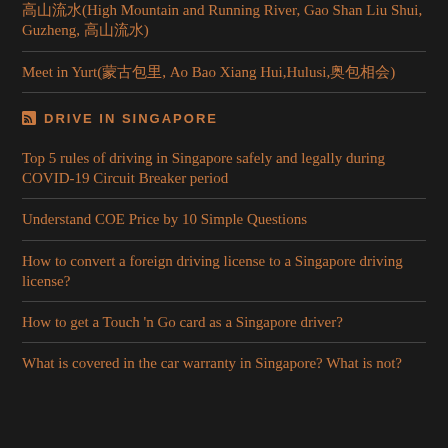高山流水(High Mountain and Running River, Gao Shan Liu Shui, Guzheng, 高山流水)
Meet in Yurt(蒙古包里, Ao Bao Xiang Hui,Hulusi,奥包相会)
DRIVE IN SINGAPORE
Top 5 rules of driving in Singapore safely and legally during COVID-19 Circuit Breaker period
Understand COE Price by 10 Simple Questions
How to convert a foreign driving license to a Singapore driving license?
How to get a Touch 'n Go card as a Singapore driver?
What is covered in the car warranty in Singapore? What is not?